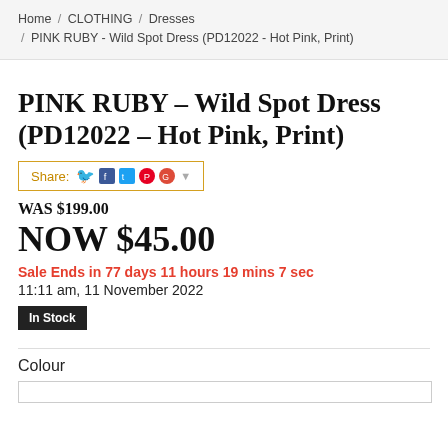Home / CLOTHING / Dresses / PINK RUBY - Wild Spot Dress (PD12022 - Hot Pink, Print)
PINK RUBY - Wild Spot Dress (PD12022 - Hot Pink, Print)
Share:
WAS $199.00
NOW $45.00
Sale Ends in 77 days 11 hours 19 mins 7 sec
11:11 am, 11 November 2022
In Stock
Colour